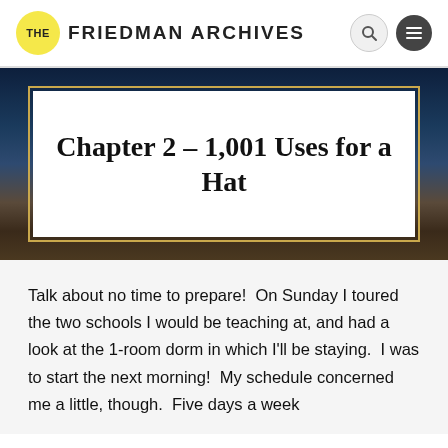THE FRIEDMAN ARCHIVES
Chapter 2 – 1,001 Uses for a Hat
Talk about no time to prepare!  On Sunday I toured the two schools I would be teaching at, and had a look at the 1-room dorm in which I'll be staying.  I was to start the next morning!  My schedule concerned me a little, though.  Five days a week